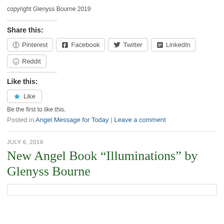copyright Glenyss Bourne 2019
Share this:
Pinterest | Facebook | Twitter | LinkedIn | Reddit
Like this:
Like
Be the first to like this.
Posted in Angel Message for Today | Leave a comment
JULY 6, 2019
New Angel Book “Illuminations” by Glenyss Bourne